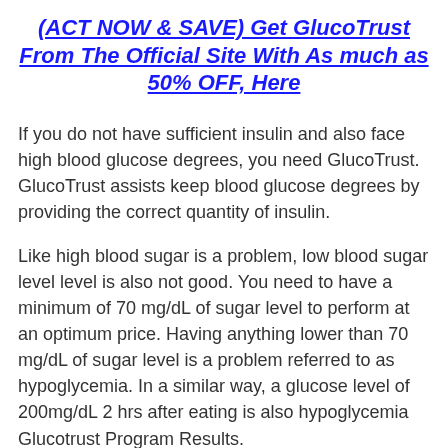(ACT NOW & SAVE) Get GlucoTrust From The Official Site With As much as 50% OFF, Here
If you do not have sufficient insulin and also face high blood glucose degrees, you need GlucoTrust. GlucoTrust assists keep blood glucose degrees by providing the correct quantity of insulin.
Like high blood sugar is a problem, low blood sugar level level is also not good. You need to have a minimum of 70 mg/dL of sugar level to perform at an optimum price. Having anything lower than 70 mg/dL of sugar level is a problem referred to as hypoglycemia. In a similar way, a glucose level of 200mg/dL 2 hrs after eating is also hypoglycemia Glucotrust Program Results.